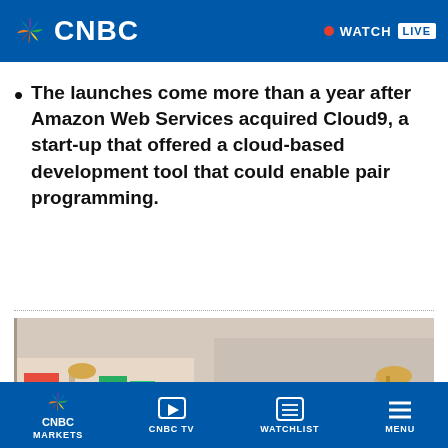CNBC | WATCH LIVE
The launches come more than a year after Amazon Web Services acquired Cloud9, a start-up that offered a cloud-based development tool that could enable pair programming.
[Figure (photo): Two men in an office cubicle setting — an older man in a grey suit leaning toward a younger man in a white shirt and tie, both looking at something off-screen.]
CNBC MARKETS | CNBC TV | WATCHLIST | MENU